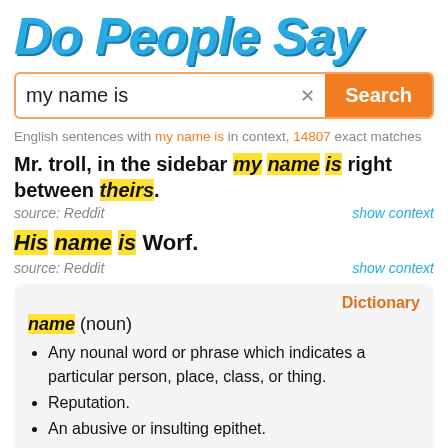Do People Say
[Figure (screenshot): Search bar with text 'my name is', an X button, and an orange Search button]
English sentences with my name is in context, 14807 exact matches
Mr. troll, in the sidebar my name is right between theirs.
source: Reddit    show context
His name is Worf.
source: Reddit    show context
Dictionary
name (noun)
• Any nounal word or phrase which indicates a particular person, place, class, or thing.
• Reputation.
• An abusive or insulting epithet.